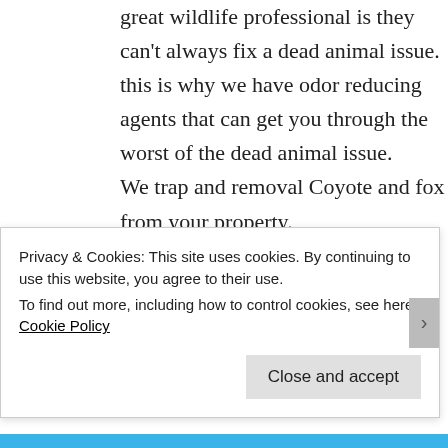great wildlife professional is they can't always fix a dead animal issue. this is why we have odor reducing agents that can get you through the worst of the dead animal issue.
We trap and removal Coyote and fox from your property.
Animal control in Berea SC, City
Privacy & Cookies: This site uses cookies. By continuing to use this website, you agree to their use.
To find out more, including how to control cookies, see here: Cookie Policy